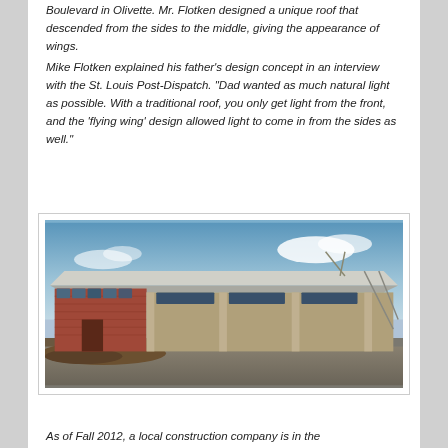Boulevard in Olivette. Mr. Flotken designed a unique roof that descended from the sides to the middle, giving the appearance of wings.
Mike Flotken explained his father's design concept in an interview with the St. Louis Post-Dispatch. "Dad wanted as much natural light as possible. With a traditional roof, you only get light from the front, and the 'flying wing' design allowed light to come in from the sides as well."
[Figure (photo): Exterior photograph of a mid-century modern building with a distinctive flying wing roof that slopes from the sides toward the middle. The building features brick construction on the left side with clerestory windows, and a lighter material on the right. The roof has wide overhanging eaves. The photo appears to be taken from a parking lot, with a partly cloudy sky in the background.]
As of Fall 2012, a local construction company is in the